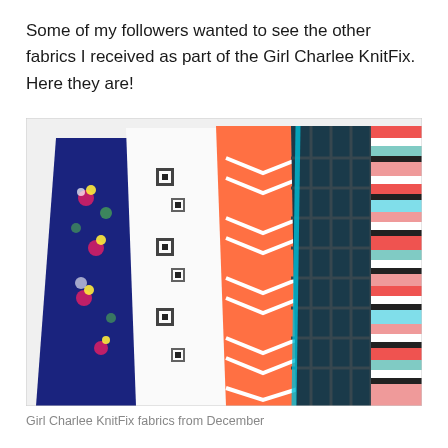Some of my followers wanted to see the other fabrics I received as part of the Girl Charlee KnitFix.  Here they are!
[Figure (photo): Fan arrangement of five different fabric swatches on a white surface: navy floral print, white with black aztec/geometric pattern, coral/salmon with white chevron/arrow pattern, dark navy/black plaid grid, and multicolor horizontal stripes (coral, black, teal, white).]
Girl Charlee KnitFix fabrics from December